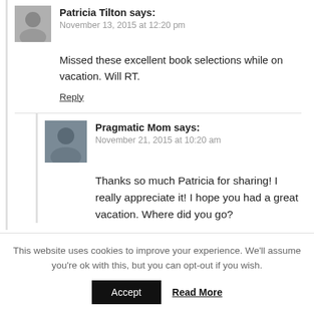Patricia Tilton says:
November 13, 2015 at 12:20 pm
Missed these excellent book selections while on vacation. Will RT.
Reply
Pragmatic Mom says:
November 21, 2015 at 10:20 am
Thanks so much Patricia for sharing! I really appreciate it! I hope you had a great vacation. Where did you go?
This website uses cookies to improve your experience. We'll assume you're ok with this, but you can opt-out if you wish.
Accept
Read More